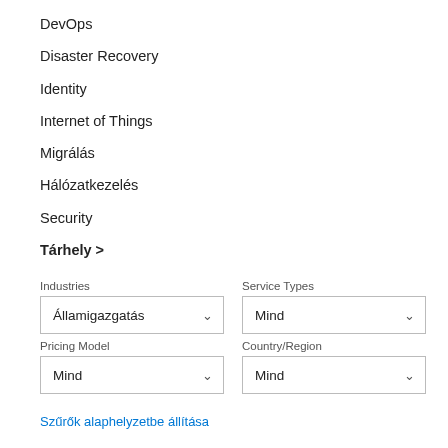DevOps
Disaster Recovery
Identity
Internet of Things
Migrálás
Hálózatkezelés
Security
Tárhely >
Industries
Államigazgatás
Service Types
Mind
Pricing Model
Mind
Country/Region
Mind
Szűrők alaphelyzetbe állítása